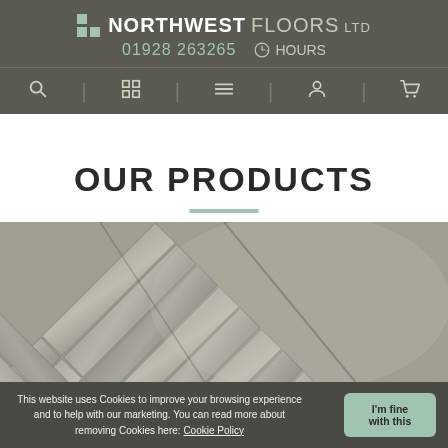NORTHWEST FLOORS LTD | 01928 263265 | HOURS
OUR PRODUCTS
[Figure (photo): Close-up photo of a herringbone-patterned grey wood-effect flooring with diagonal planks visible]
This website uses Cookies to improve your browsing experience and to help with our marketing. You can read more about removing Cookies here: Cookie Policy
I'm fine with this